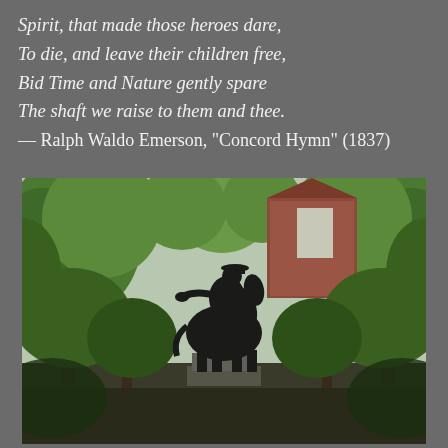Spirit, that made those heroes dare,
To die, and leave their children free,
Bid Time and Nature gently spare
The shaft we raise to them and thee.
— Ralph Waldo Emerson, "Concord Hymn" (1837)
[Figure (photo): A bronze equestrian statue of a colonial-era rider on horseback, set against a background of lush green trees and a red brick church building with an arched window.]